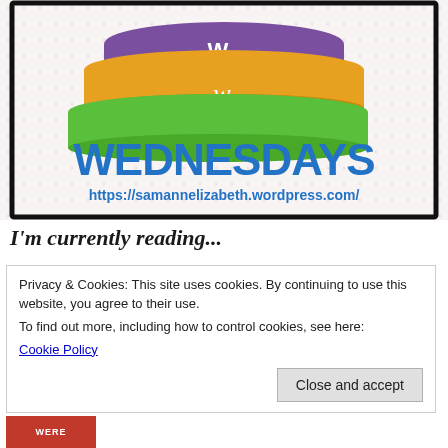[Figure (illustration): Waiting on Wednesdays meme logo: stacked illustrated books (purple, orange, green) with letters W and w on spines, bold blue text 'WEDNESDAYS' below, blue URL 'https://samannelizabeth.wordpress.com/' beneath, framed in black border on dotted background.]
I'm currently reading...
Privacy & Cookies: This site uses cookies. By continuing to use this website, you agree to their use.
To find out more, including how to control cookies, see here:
Cookie Policy
Close and accept
[Figure (photo): Partial book cover thumbnail at bottom of page showing 'WERE' text with dark/fire imagery.]